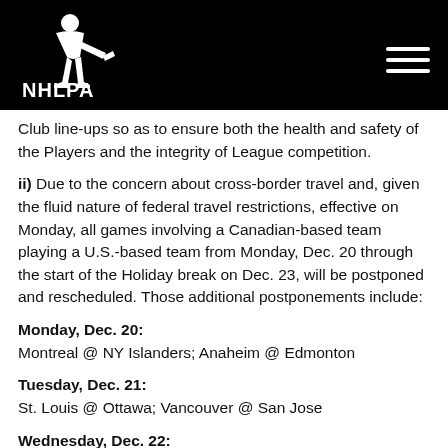NHLPA
Club line-ups so as to ensure both the health and safety of the Players and the integrity of League competition.
ii) Due to the concern about cross-border travel and, given the fluid nature of federal travel restrictions, effective on Monday, all games involving a Canadian-based team playing a U.S.-based team from Monday, Dec. 20 through the start of the Holiday break on Dec. 23, will be postponed and rescheduled. Those additional postponements include:
Monday, Dec. 20:
Montreal @ NY Islanders; Anaheim @ Edmonton
Tuesday, Dec. 21:
St. Louis @ Ottawa; Vancouver @ San Jose
Wednesday, Dec. 22: